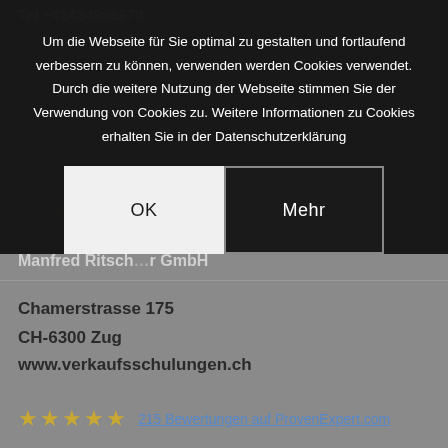Tel +41434998970
Um die Webseite für Sie optimal zu gestalten und fortlaufend verbessern zu können, verwenden werden Cookies verwendet. Durch die weitere Nutzung der Webseite stimmen Sie der Verwendung von Cookies zu. Weitere Informationen zu Cookies erhalten Sie in der Datenschutzerklärung
OK | Mehr
Firma
Manfred Ritsch... GmbH
Chamerstrasse 175
CH-6300 Zug
www.verkaufsschulungen.ch
★★★★★  215 Bewertungen auf ProvenExpert.com